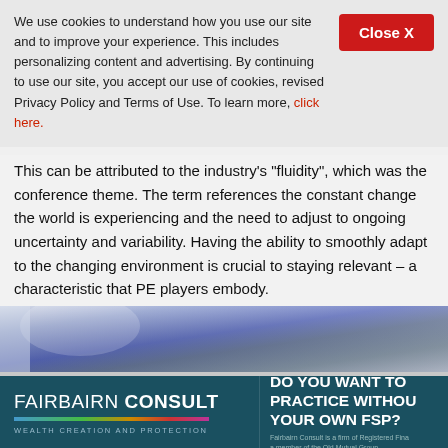We use cookies to understand how you use our site and to improve your experience. This includes personalizing content and advertising. By continuing to use our site, you accept our use of cookies, revised Privacy Policy and Terms of Use. To learn more, click here.
This can be attributed to the industry's "fluidity", which was the conference theme. The term references the constant change the world is experiencing and the need to adjust to ongoing uncertainty and variability. Having the ability to smoothly adapt to the changing environment is crucial to staying relevant – a characteristic that PE players embody.
[Figure (photo): Abstract architectural or interior photo strip with blue-grey tones, partially visible]
[Figure (logo): Fairbairn Consult advertisement banner — logo with colorful rule bar, tagline 'Wealth Creation and Protection', and CTA 'Do you want to practice without your own FSP?' with sub-text 'Fairbairn Consult is a firm of Registered Financial Advisors, a member of the Old Mutual Group.']